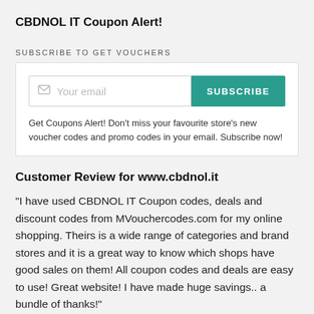CBDNOL IT Coupon Alert!
SUBSCRIBE TO GET VOUCHERS
[Figure (screenshot): Email subscription form with an email input field and a teal SUBSCRIBE button]
Get Coupons Alert! Don't miss your favourite store's new voucher codes and promo codes in your email. Subscribe now!
Customer Review for www.cbdnol.it
"I have used CBDNOL IT Coupon codes, deals and discount codes from MVouchercodes.com for my online shopping. Theirs is a wide range of categories and brand stores and it is a great way to know which shops have good sales on them! All coupon codes and deals are easy to use! Great website! I have made huge savings.. a bundle of thanks!"